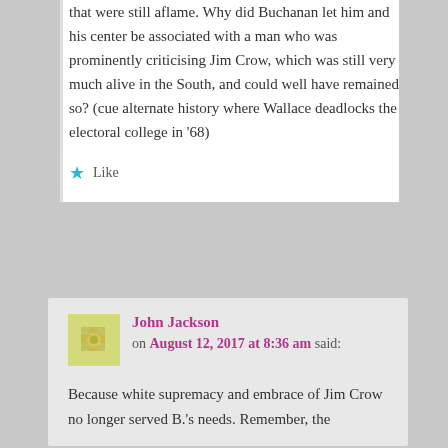that were still aflame. Why did Buchanan let him and his center be associated with a man who was prominently criticising Jim Crow, which was still very much alive in the South, and could well have remained so? (cue alternate history where Wallace deadlocks the electoral college in '68)
Like
John Jackson on August 12, 2017 at 8:36 am said:
Because white supremacy and embrace of Jim Crow no longer served B.'s needs. Remember, the